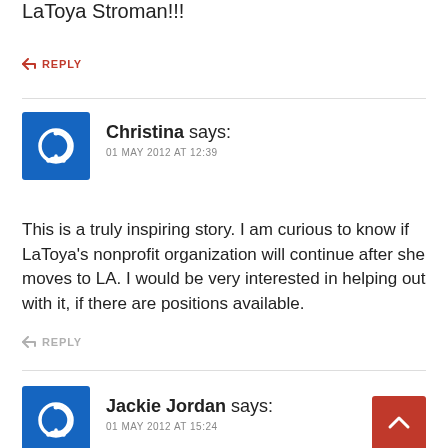LaToya Stroman!!!
↩ REPLY
Christina says:
01 MAY 2012 AT 12:39
This is a truly inspiring story. I am curious to know if LaToya's nonprofit organization will continue after she moves to LA. I would be very interested in helping out with it, if there are positions available.
↩ REPLY
Jackie Jordan says:
01 MAY 2012 AT 15:24